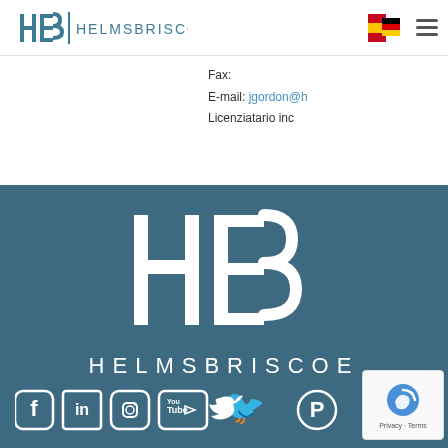[Figure (logo): HB | HELMSBRISCOE logo in steel blue color with H and B letters and vertical divider]
[Figure (infographic): Spanish and German flag icons stacked, followed by hamburger menu icon]
Fax:
E-mail: jgordon@h...
Licenziatario inc...
[Figure (logo): Large HB logo mark in white on steel blue background with HELMSBRISCOE text below]
[Figure (infographic): Social media icons row: Facebook, LinkedIn, Instagram, YouTube, Twitter, Pinterest]
[Figure (other): Google reCAPTCHA badge with Privacy - Terms text]